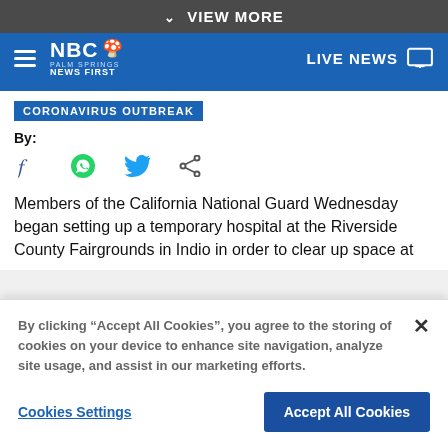VIEW MORE
[Figure (logo): NBC Palm Springs News First logo with navigation bar]
CORONAVIRUS OUTBREAK
By:
[Figure (other): Social share icons: Facebook, WhatsApp, Twitter, Share]
Members of the California National Guard Wednesday began setting up a temporary hospital at the Riverside County Fairgrounds in Indio in order to clear up space at
By clicking “Accept All Cookies”, you agree to the storing of cookies on your device to enhance site navigation, analyze site usage, and assist in our marketing efforts.
Cookies Settings
Accept All Cookies